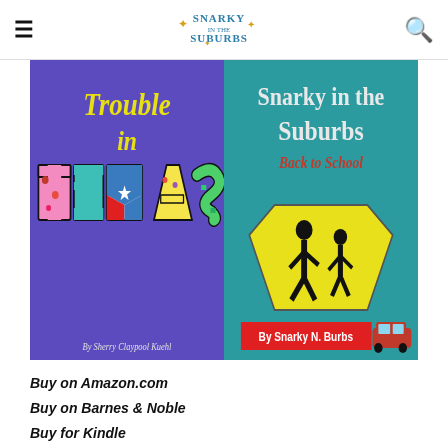Snarky in the Suburbs (logo)
[Figure (illustration): Two book covers side by side. Left: 'Trouble in Texas' by Sherry Claypool Kuehl on purple background with decorative TEXAS letters. Right: 'Snarky in the Suburbs Back to School' by Snarky N. Burbs on teal background with school crossing sign and red minivan.]
Buy on Amazon.com
Buy on Barnes & Noble
Buy for Kindle